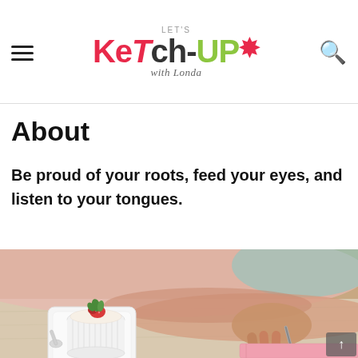Let's Ketch-Up with Londa — navigation header with hamburger menu, logo, and search icon
About
Be proud of your roots, feed your eyes, and listen to your tongues.
[Figure (photo): A woman's hand writing in a pink notebook at a wooden table, with a white ramekin dish topped with strawberry and cream on a square white plate, spoon beside it. Blurred pink background.]